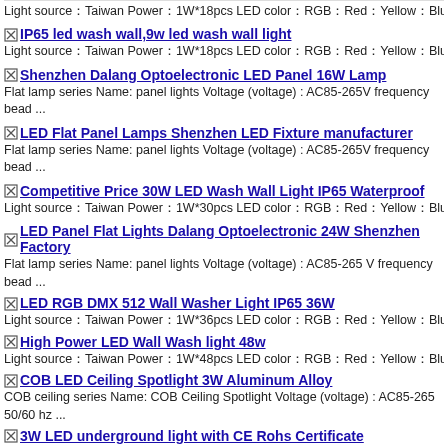Light source【Taiwan Power【1W*18pcs LED color【RGB【Red【Yellow【Blue【Gree
IP65 led wash wall,9w led wash wall light
Light source【Taiwan Power【1W*18pcs LED color【RGB【Red【Yellow【Blue【Gree
Shenzhen Dalang Optoelectronic LED Panel 16W Lamp
Flat lamp series Name: panel lights Voltage (voltage) : AC85-265V frequency bead ...
LED Flat Panel Lamps Shenzhen LED Fixture manufacturer
Flat lamp series Name: panel lights Voltage (voltage) : AC85-265V frequency bead ...
Competitive Price 30W LED Wash Wall Light IP65 Waterproof
Light source【Taiwan Power【1W*30pcs LED color【RGB【Red【Yellow【Blue【Gree
LED Panel Flat Lights Dalang Optoelectronic 24W Shenzhen Factory
Flat lamp series Name: panel lights Voltage (voltage) : AC85-265 V frequency bead ...
LED RGB DMX 512 Wall Washer Light IP65 36W
Light source【Taiwan Power【1W*36pcs LED color【RGB【Red【Yellow【Blue【Gree
High Power LED Wall Wash light 48w
Light source【Taiwan Power【1W*48pcs LED color【RGB【Red【Yellow【Blue【Gree
COB LED Ceiling Spotlight 3W Aluminum Alloy
COB ceiling series Name: COB Ceiling Spotlight Voltage (voltage) : AC85-265 50/60 hz ...
3W LED underground light with CE Rohs Certificate